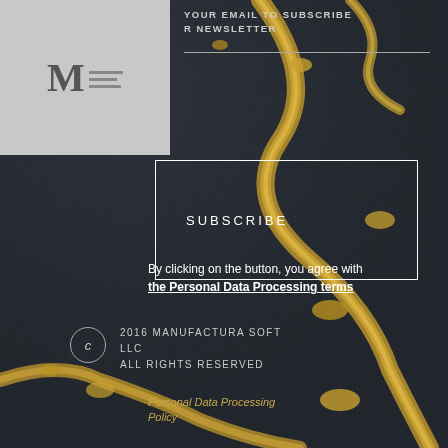[Figure (photo): Dark blue-grey stone or marble texture with gold veining streaks running diagonally across the image, used as background.]
[Figure (logo): Manufactura Soft logo: letter M on left in serif font, three horizontal lines on right, on grey background]
YOUR EMAIL TO SUBSCRIBE
R NEWSLETTER
SUBSCRIBE
By clicking on the button, you agree with the Personal Data Processing terms
2016 MANUFACTURA SOFT LLC
ALL RIGHTS RESERVED
Personal Data Processing Policy